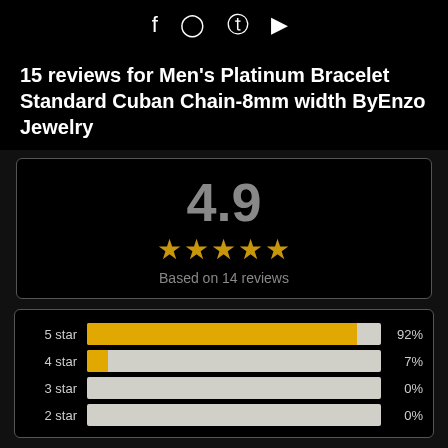f  ◎  ⊕  ▶
15 reviews for Men's Platinum Bracelet Standard Cuban Chain-8mm width ByEnzo Jewelry
[Figure (infographic): Rating summary box showing 4.9 out of 5 stars based on 14 reviews]
[Figure (bar-chart): Review breakdown by star rating]